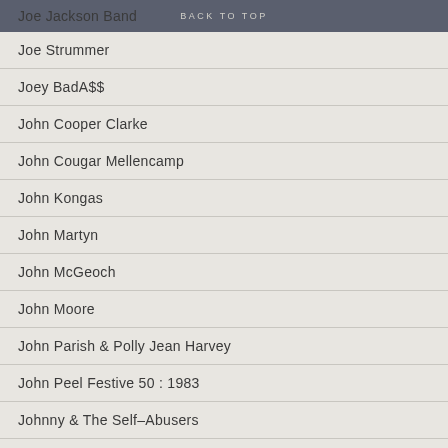BACK TO TOP
Joe Jackson Band
Joe Strummer
Joey BadA$$
John Cooper Clarke
John Cougar Mellencamp
John Kongas
John Martyn
John McGeoch
John Moore
John Parish & Polly Jean Harvey
John Peel Festive 50 : 1983
Johnny & The Self-Abusers
Johnny Cash